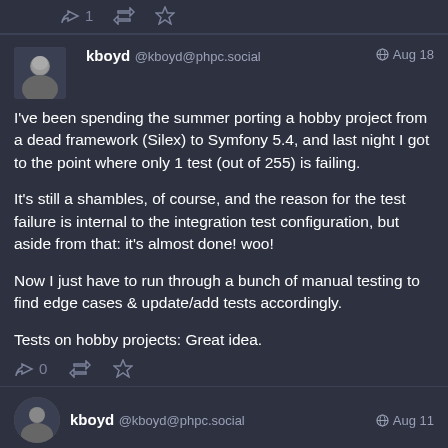[Figure (screenshot): Social media (Mastodon) post interface top actions row with reply icon showing '1', retweet icon, and star/favorite icon on dark background]
kboyd @kboyd@phpc.social  Aug 18

I've been spending the summer porting a hobby project from a dead framework (Silex) to Symfony 5.4, and last night I got to the point where only 1 test (out of 255) is failing.

It's still a shambles, of course, and the reason for the test failure is internal to the integration test configuration, but aside from that: it's almost done! woo!

Now I just have to run through a bunch of manual testing to find edge cases & update/add tests accordingly.

Tests on hobby projects: Great idea.
[Figure (screenshot): Post action icons: reply showing '0', retweet, and star/favorite on dark background]
kboyd @kboyd@phpc.social  Aug 11